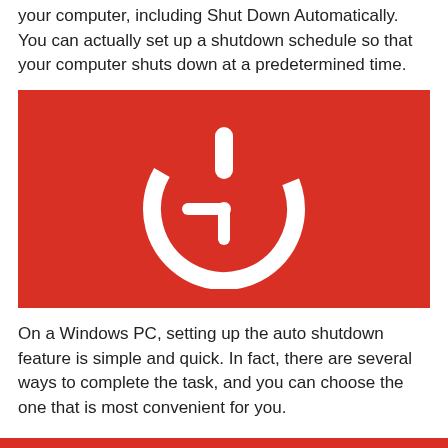your computer, including Shut Down Automatically. You can actually set up a shutdown schedule so that your computer shuts down at a predetermined time.
[Figure (illustration): Red rectangle background with a white combined power button and clock icon in the center. The icon shows a circular power symbol with a clock face inside (hour and minute hands pointing to approximately 9 o'clock).]
On a Windows PC, setting up the auto shutdown feature is simple and quick. In fact, there are several ways to complete the task, and you can choose the one that is most convenient for you.